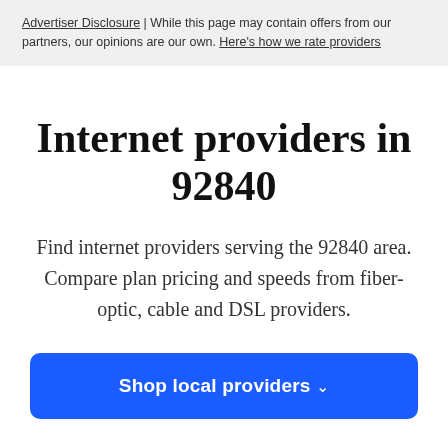Advertiser Disclosure | While this page may contain offers from our partners, our opinions are our own. Here's how we rate providers
Internet providers in 92840
Find internet providers serving the 92840 area. Compare plan pricing and speeds from fiber-optic, cable and DSL providers.
Shop local providers